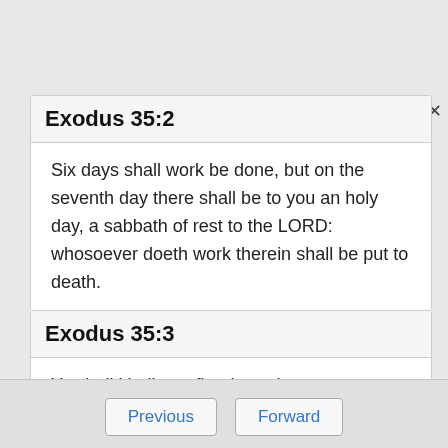Exodus 35:2
Six days shall work be done, but on the seventh day there shall be to you an holy day, a sabbath of rest to the LORD: whosoever doeth work therein shall be put to death.
Exodus 35:3
Ye shall kindle no fire throughout your habitations upon the sabbath day.
Previous  Forward